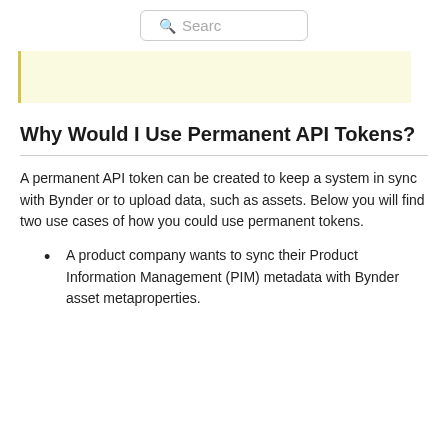Search
[Figure (other): Yellow highlighted block with left border]
Why Would I Use Permanent API Tokens?
A permanent API token can be created to keep a system in sync with Bynder or to upload data, such as assets. Below you will find two use cases of how you could use permanent tokens.
A product company wants to sync their Product Information Management (PIM) metadata with Bynder asset metaproperties.